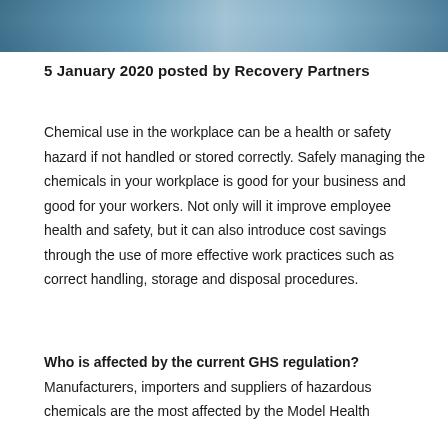[Figure (photo): A blue-toned photo strip at the top of the page, showing what appears to be a workplace or laboratory setting with blue tones.]
5 January 2020 posted by Recovery Partners
Chemical use in the workplace can be a health or safety hazard if not handled or stored correctly. Safely managing the chemicals in your workplace is good for your business and good for your workers. Not only will it improve employee health and safety, but it can also introduce cost savings through the use of more effective work practices such as correct handling, storage and disposal procedures.
Who is affected by the current GHS regulation? Manufacturers, importers and suppliers of hazardous chemicals are the most affected by the Model Health...